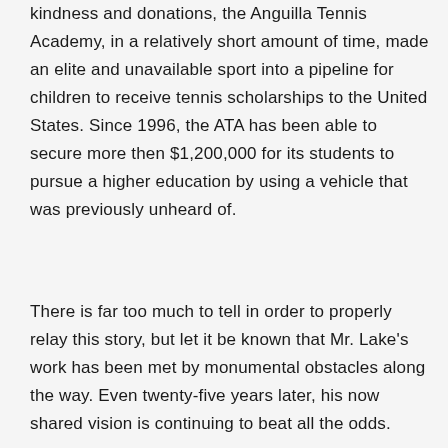kindness and donations, the Anguilla Tennis Academy, in a relatively short amount of time, made an elite and unavailable sport into a pipeline for children to receive tennis scholarships to the United States. Since 1996, the ATA has been able to secure more then $1,200,000 for its students to pursue a higher education by using a vehicle that was previously unheard of.
There is far too much to tell in order to properly relay this story, but let it be known that Mr. Lake's work has been met by monumental obstacles along the way. Even twenty-five years later, his now shared vision is continuing to beat all the odds.